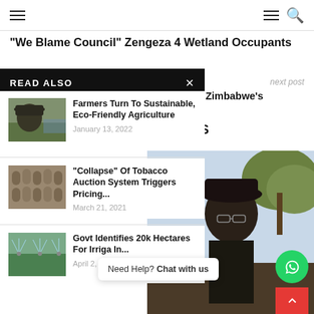Navigation bar with hamburger menus and search icon
"We Blame Council" Zengeza 4 Wetland Occupants
next post
arbonising Zimbabwe's Electricity
READ ALSO
Farmers Turn To Sustainable, Eco-Friendly Agriculture — January 13, 2022
"Collapse" Of Tobacco Auction System Triggers Pricing... — March 21, 2021
Govt Identifies 20k Hectares For Irriga In... — April 2, 2021
RTICLES
Need Help? Chat with us